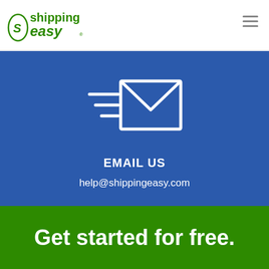[Figure (logo): ShippingEasy green logo with stylized text]
[Figure (illustration): Hamburger menu icon (three horizontal lines) in grey]
[Figure (illustration): Email envelope icon with speed lines on blue background]
EMAIL US
help@shippingeasy.com
Get started for free.